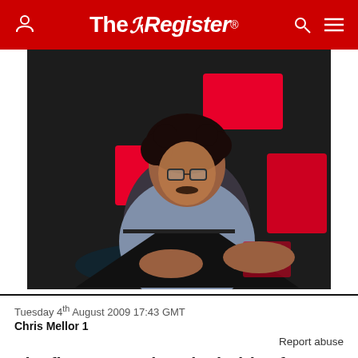The Register
[Figure (photo): Young man with curly hair and glasses working on a laptop in a dark room with red geometric shapes on the wall behind him]
Tuesday 4th August 2009 17:43 GMT
Chris Mellor 1
Report abuse
The first external 3.5-inch drive from